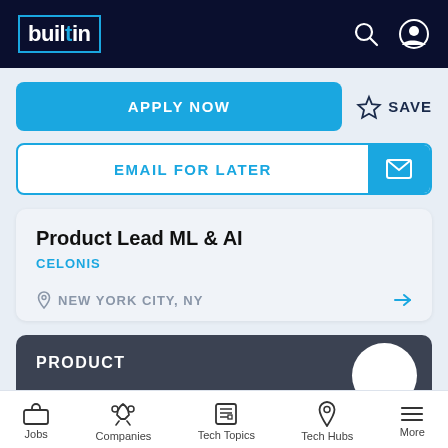builtin — navigation bar with search and account icons
APPLY NOW
SAVE
EMAIL FOR LATER
Product Lead ML & AI
CELONIS
NEW YORK CITY, NY
PRODUCT
Jobs   Companies   Tech Topics   Tech Hubs   More